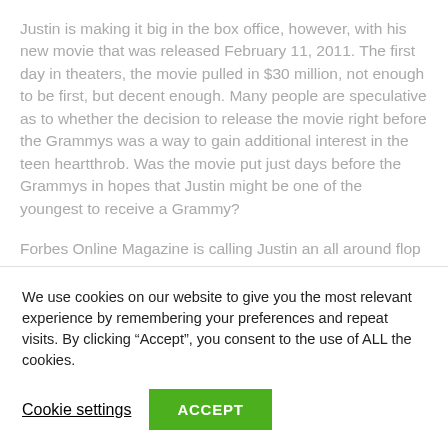Justin is making it big in the box office, however, with his new movie that was released February 11, 2011. The first day in theaters, the movie pulled in $30 million, not enough to be first, but decent enough. Many people are speculative as to whether the decision to release the movie right before the Grammys was a way to gain additional interest in the teen heartthrob. Was the movie put just days before the Grammys in hopes that Justin might be one of the youngest to receive a Grammy?
Forbes Online Magazine is calling Justin an all around flop and here's why. He lost out on two Grammys, his new concert...
We use cookies on our website to give you the most relevant experience by remembering your preferences and repeat visits. By clicking “Accept”, you consent to the use of ALL the cookies.
Cookie settings
ACCEPT